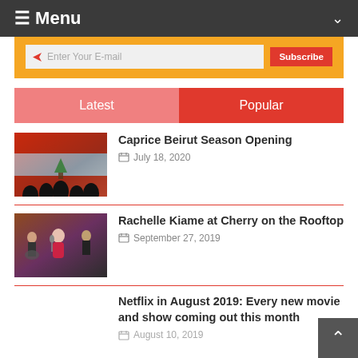≡ Menu
[Figure (screenshot): Email subscription bar with orange background, paper plane icon, 'Enter Your E-mail' input field, and red 'Subscribe' button]
Latest
Popular
[Figure (photo): Concert photo with Lebanese flag and crowd silhouettes]
Caprice Beirut Season Opening
July 18, 2020
[Figure (photo): Singer performing at Cherry on the Rooftop with musicians in background]
Rachelle Kiame at Cherry on the Rooftop
September 27, 2019
Netflix in August 2019: Every new movie and show coming out this month
August 10, 2019